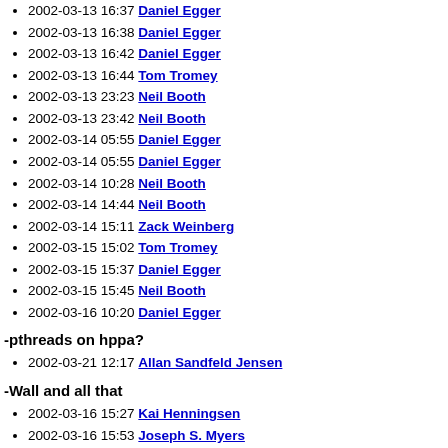2002-03-13 16:37 Daniel Egger
2002-03-13 16:38 Daniel Egger
2002-03-13 16:42 Daniel Egger
2002-03-13 16:44 Tom Tromey
2002-03-13 23:23 Neil Booth
2002-03-13 23:42 Neil Booth
2002-03-14 05:55 Daniel Egger
2002-03-14 05:55 Daniel Egger
2002-03-14 10:28 Neil Booth
2002-03-14 14:44 Neil Booth
2002-03-14 15:11 Zack Weinberg
2002-03-15 15:02 Tom Tromey
2002-03-15 15:37 Daniel Egger
2002-03-15 15:45 Neil Booth
2002-03-16 10:20 Daniel Egger
-pthreads on hppa?
2002-03-21 12:17 Allan Sandfeld Jensen
-Wall and all that
2002-03-16 15:27 Kai Henningsen
2002-03-16 15:53 Joseph S. Myers
2002-03-17 01:57 Kai Henningsen